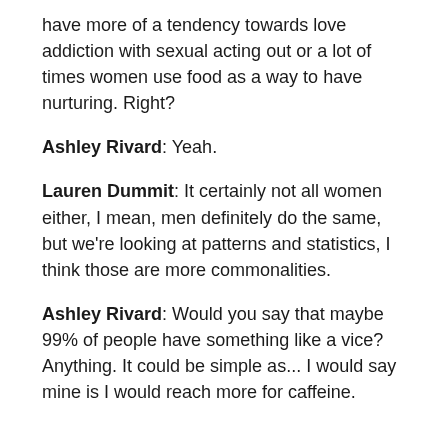have more of a tendency towards love addiction with sexual acting out or a lot of times women use food as a way to have nurturing. Right?
Ashley Rivard: Yeah.
Lauren Dummit: It certainly not all women either, I mean, men definitely do the same, but we're looking at patterns and statistics, I think those are more commonalities.
Ashley Rivard: Would you say that maybe 99% of people have something like a vice? Anything. It could be simple as... I would say mine is I would reach more for caffeine.